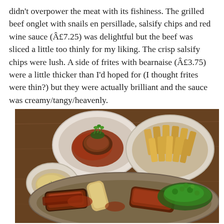didn't overpower the meat with its fishiness. The grilled beef onglet with snails en persillade, salsify chips and red wine sauce (£7.25) was delightful but the beef was sliced a little too thinly for my liking. The crisp salsify chips were lush. A side of frites with bearnaise (£3.75) were a little thicker than I'd hoped for (I thought frites were thin?) but they were actually brilliant and the sauce was creamy/tangy/heavenly.
[Figure (photo): A restaurant table photograph showing two plates of food: a round plate with a piece of grilled beef onglet garnished with greens in a red wine sauce, next to a bowl of thick-cut frites. In the foreground is a large oval plate with ribs glazed in sauce with watercress, and a small round bowl of bearnaise sauce on the side.]